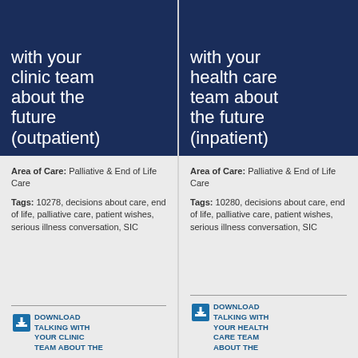with your clinic team about the future (outpatient)
Area of Care: Palliative & End of Life Care
Tags: 10278, decisions about care, end of life, palliative care, patient wishes, serious illness conversation, SIC
DOWNLOAD TALKING WITH YOUR CLINIC TEAM ABOUT THE
with your health care team about the future (inpatient)
Area of Care: Palliative & End of Life Care
Tags: 10280, decisions about care, end of life, palliative care, patient wishes, serious illness conversation, SIC
DOWNLOAD TALKING WITH YOUR HEALTH CARE TEAM ABOUT THE